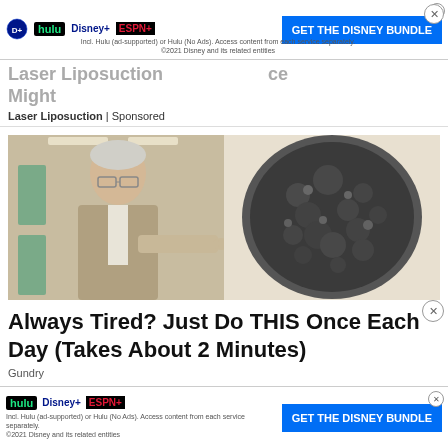[Figure (screenshot): Disney Bundle advertisement banner at top with Hulu, Disney+, ESPN+ logos and 'GET THE DISNEY BUNDLE' button, with fine print and X close button]
Laser Liposuction | Sponsored
[Figure (photo): Side-by-side image: on the left an older man in a suit pointing to the right, on the right a dark pot with bubbling/boiling liquid]
Always Tired? Just Do THIS Once Each Day (Takes About 2 Minutes)
Gundry
[Figure (screenshot): Disney Bundle advertisement banner at bottom with Hulu, Disney+, ESPN+ logos and 'GET THE DISNEY BUNDLE' button, with fine print]